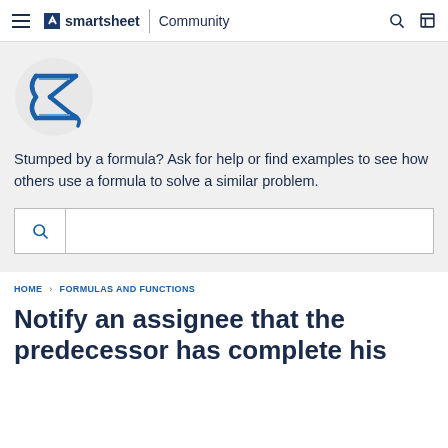smartsheet | Community
[Figure (logo): Smartsheet Community Sigma/formula logo — blue stylized sigma symbol in a circle]
Stumped by a formula? Ask for help or find examples to see how others use a formula to solve a similar problem.
Search box
HOME › FORMULAS AND FUNCTIONS
Notify an assignee that the predecessor has complete his